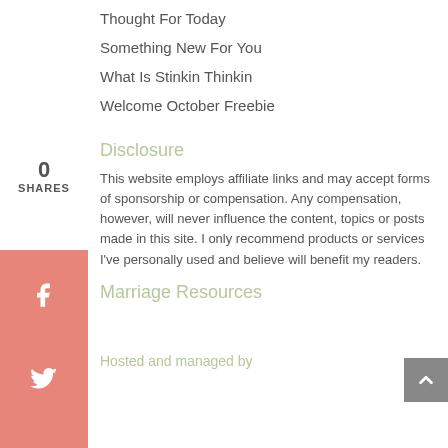Thought For Today
Something New For You
What Is Stinkin Thinkin
Welcome October Freebie
Disclosure
This website employs affiliate links and may accept forms of sponsorship or compensation. Any compensation, however, will never influence the content, topics or posts made in this site. I only recommend products or services I've personally used and believe will benefit my readers.
Marriage Resources
Hosted and managed by